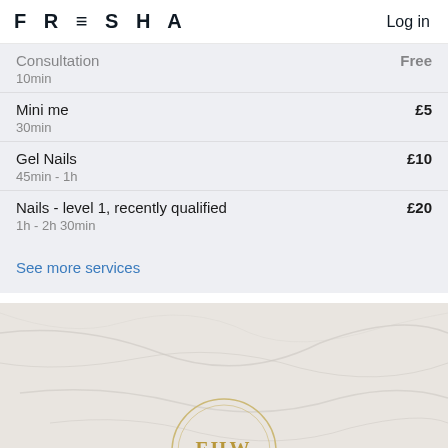FRESHA   Log in
Consultation — Free
10min
Mini me — £5
30min
Gel Nails — £10
45min - 1h
Nails - level 1, recently qualified — £20
1h - 2h 30min
See more services
[Figure (photo): Marble texture background with a gold circular emblem containing the letters FHW]